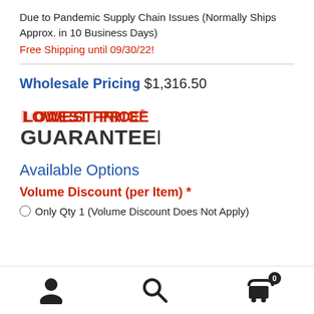Due to Pandemic Supply Chain Issues (Normally Ships Approx. in 10 Business Days)
Free Shipping until 09/30/22!
Wholesale Pricing $1,316.50
[Figure (logo): Lowest Price Guaranteed logo — red text 'LOWEST PRICE' on top line, bold dark gray 'GUARANTEED' on second line]
Available Options
Volume Discount (per Item) *
Only Qty 1 (Volume Discount Does Not Apply)
Navigation bar with user icon, search icon, and cart icon (0 items)